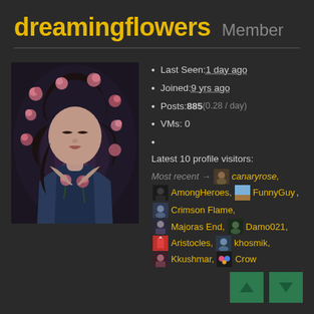dreamingflowers  Member
Last Seen: 1 day ago
Joined: 9 yrs ago
Posts: 885 (0.28 / day)
VMs: 0
Latest 10 profile visitors: Most recent → canaryrose, AmongHeroes, FunnyGuy, Crimson Flame, Majoras End, Damo021, Aristocles, khosmik, Kkushmar, Crow
[Figure (illustration): Artistic illustration of a young woman with dark hair lying among pink roses on a dark background, holding roses to her chest]
[Figure (other): Navigation buttons: up arrow and down arrow in dark green squares]